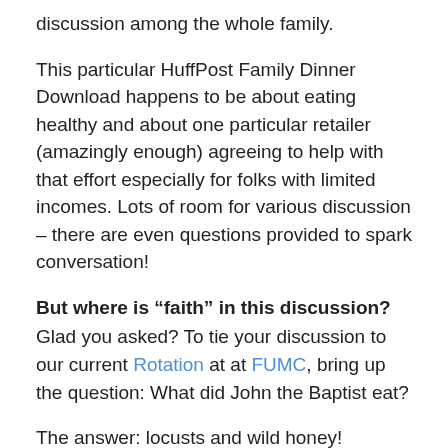discussion among the whole family.
This particular HuffPost Family Dinner Download happens to be about eating healthy and about one particular retailer (amazingly enough) agreeing to help with that effort especially for folks with limited incomes. Lots of room for various discussion – there are even questions provided to spark conversation!
But where is “faith” in this discussion?
Glad you asked? To tie your discussion to our current Rotation at at FUMC, bring up the question: What did John the Baptist eat?
The answer: locusts and wild honey! (Matthew 3:4) Yum?
Here are some other questions to discuss: